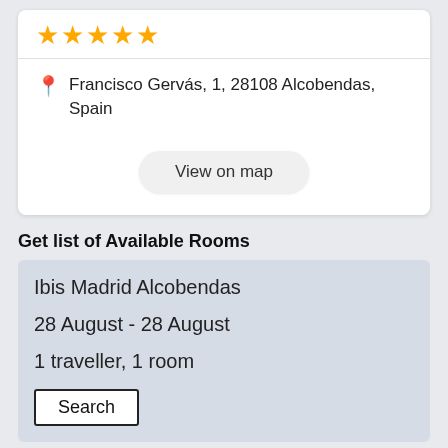[Figure (other): 4 gold/yellow star rating icons]
Francisco Gervás, 1, 28108 Alcobendas, Spain
View on map
Get list of Available Rooms
Ibis Madrid Alcobendas
28 August - 28 August
1 traveller, 1 room
Search